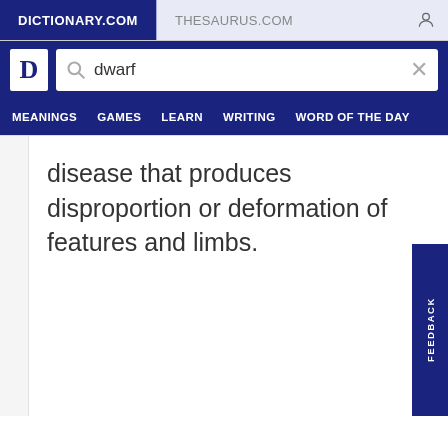DICTIONARY.COM | THESAURUS.COM
[Figure (screenshot): Dictionary.com website header with logo and search bar showing 'dwarf', navigation menu with MEANINGS, GAMES, LEARN, WRITING, WORD OF THE DAY]
disease that produces disproportion or deformation of features and limbs.
FEEDBACK